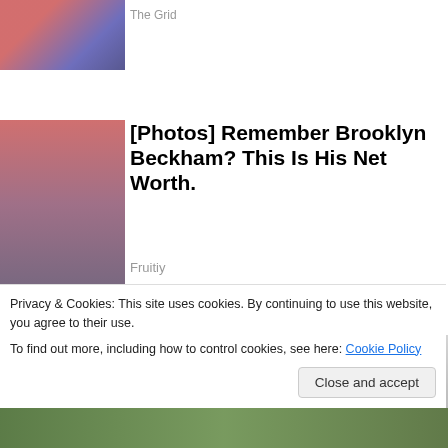[Figure (photo): Thumbnail photo of performers on stage with colorful background]
The Grid
[Figure (photo): Photo of Brooklyn Beckham and Victoria Beckham]
[Photos] Remember Brooklyn Beckham? This Is His Net Worth.
Fruitiy
[Figure (photo): Large photo of a woman with braided hair]
Privacy & Cookies: This site uses cookies. By continuing to use this website, you agree to their use.
To find out more, including how to control cookies, see here: Cookie Policy
Close and accept
[Figure (photo): Bottom strip showing partial photo with green tones]